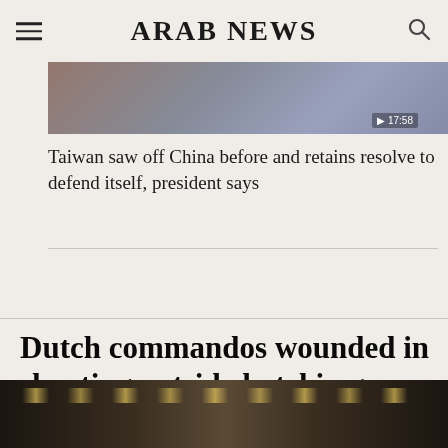ARAB NEWS
[Figure (photo): Partial view of a person, appears to be a news article thumbnail image]
Taiwan saw off China before and retains resolve to defend itself, president says
Dutch commandos wounded in shooting outside hotel in gun-crazy US
[Figure (photo): Dark interior photo, appears to show a hotel or building interior with ceiling lights]